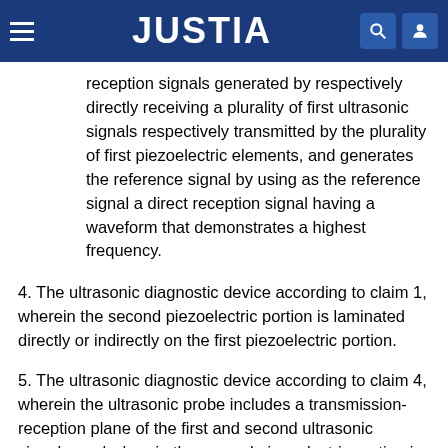JUSTIA
reception signals generated by respectively directly receiving a plurality of first ultrasonic signals respectively transmitted by the plurality of first piezoelectric elements, and generates the reference signal by using as the reference signal a direct reception signal having a waveform that demonstrates a highest frequency.
4. The ultrasonic diagnostic device according to claim 1, wherein the second piezoelectric portion is laminated directly or indirectly on the first piezoelectric portion.
5. The ultrasonic diagnostic device according to claim 4, wherein the ultrasonic probe includes a transmission-reception plane of the first and second ultrasonic signals, and wherein the second piezoelectric portion is arranged between the transmission-reception plane and the first piezoelectric portion.